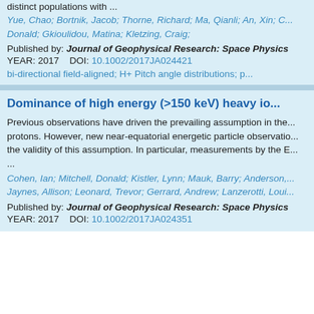distinct populations with ...
Yue, Chao; Bortnik, Jacob; Thorne, Richard; Ma, Qianli; An, Xin; C... Donald; Gkioulidou, Matina; Kletzing, Craig;
Published by: Journal of Geophysical Research: Space Physics
YEAR: 2017    DOI: 10.1002/2017JA024421
bi-directional field-aligned; H+ Pitch angle distributions; p...
Dominance of high energy (>150 keV) heavy io...
Previous observations have driven the prevailing assumption in the... protons. However, new near-equatorial energetic particle observatio... the validity of this assumption. In particular, measurements by the E...
...
Cohen, Ian; Mitchell, Donald; Kistler, Lynn; Mauk, Barry; Anderson,... Jaynes, Allison; Leonard, Trevor; Gerrard, Andrew; Lanzerotti, Loui...
Published by: Journal of Geophysical Research: Space Physics
YEAR: 2017    DOI: 10.1002/2017JA024351